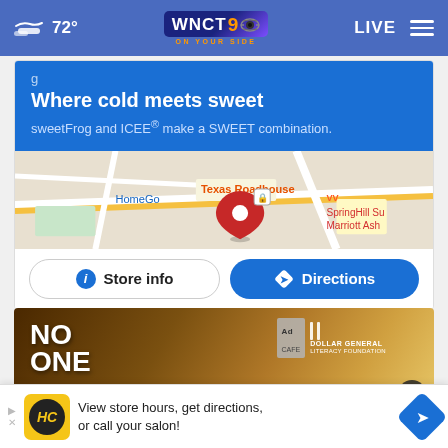72° WNCT 9 ON YOUR SIDE LIVE
[Figure (screenshot): SweetFrog and ICEE advertisement showing 'Where cold meets sweet' text, a Google Maps view with a location pin near HomeGoods and Texas Roadhouse, and Store info / Directions buttons]
[Figure (screenshot): Dollar General Literacy Foundation advertisement showing 'NO ONE' text on a warm-toned background with close button]
View store hours, get directions, or call your salon!